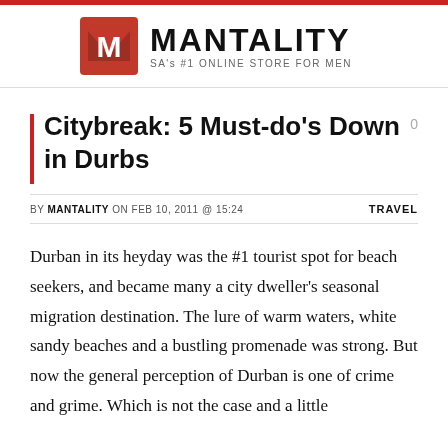[Figure (logo): Mantality logo: red square with white M icon, bold MANTALITY text, tagline SA's #1 ONLINE STORE FOR MEN]
Citybreak: 5 Must-do's Down in Durbs
BY MANTALITY ON FEB 10, 2011 @ 15:24   TRAVEL
Durban in its heyday was the #1 tourist spot for beach seekers, and became many a city dweller's seasonal migration destination. The lure of warm waters, white sandy beaches and a bustling promenade was strong. But now the general perception of Durban is one of crime and grime. Which is not the case and a little